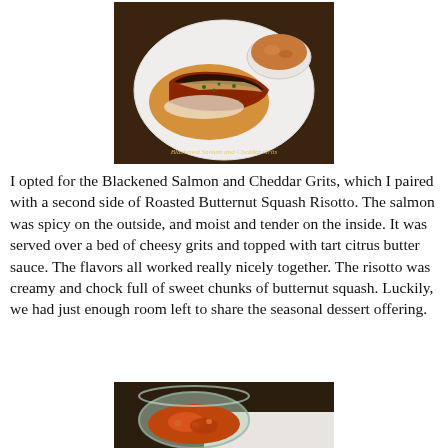[Figure (photo): A white plate with blackened salmon topped with melted cheese and green herbs, served on cheesy grits, with a ramekin of roasted butternut squash risotto. Text watermark reads 'Blackened Salmon and Cheddar Grits'.]
I opted for the Blackened Salmon and Cheddar Grits, which I paired with a second side of Roasted Butternut Squash Risotto. The salmon was spicy on the outside, and moist and tender on the inside. It was served over a bed of cheesy grits and topped with tart citrus butter sauce. The flavors all worked really nicely together. The risotto was creamy and chock full of sweet chunks of butternut squash. Luckily, we had just enough room left to share the seasonal dessert offering.
[Figure (photo): A glass bowl with a dessert that appears to be a fruit or berry compote, partially visible, on a white plate/surface.]